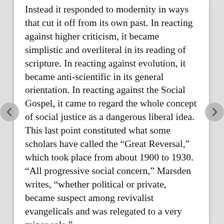Instead it responded to modernity in ways that cut it off from its own past. In reacting against higher criticism, it became simplistic and overliteral in its reading of scripture. In reacting against evolution, it became anti-scientific in its general orientation. In reacting against the Social Gospel, it came to regard the whole concept of social justice as a dangerous liberal idea. This last point constituted what some scholars have called the “Great Reversal,” which took place from about 1900 to 1930. “All progressive social concern,” Marsden writes, “whether political or private, became suspect among revivalist evangelicals and was relegated to a very minor role.”
In the late 20th century some Evangelicals (think